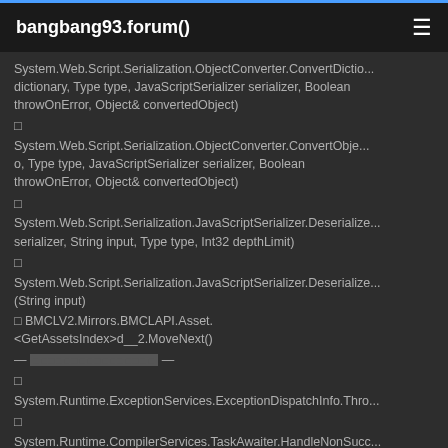bangbang93.forum()
System.Web.Script.Serialization.ObjectConverter.ConvertDictionary, Type type, JavaScriptSerializer serializer, Boolean throwOnError, Object& convertedObject)
System.Web.Script.Serialization.ObjectConverter.ConvertObject, Type type, JavaScriptSerializer serializer, Boolean throwOnError, Object& convertedObject)
System.Web.Script.Serialization.JavaScriptSerializer.Deserialize serializer, String input, Type type, Int32 depthLimit)
System.Web.Script.Serialization.JavaScriptSerializer.Deserialize (String input)
BMCLV2.Mirrors.BMCLAPI.Asset.<GetAssetsIndex>d__2.MoveNext()
— [redacted] —
System.Runtime.ExceptionServices.ExceptionDispatchInfo.Throw
System.Runtime.CompilerServices.TaskAwaiter.HandleNonSuccessAndDebuggerNotification task)